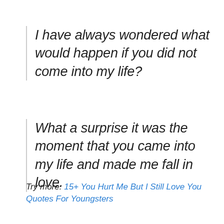I have always wondered what would happen if you did not come into my life?
What a surprise it was the moment that you came into my life and made me fall in love.
Try more: 15+ You Hurt Me But I Still Love You Quotes For Youngsters